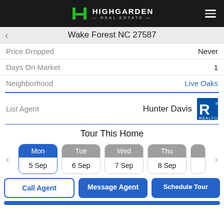HIGHGARDEN REAL ESTATE
Wake Forest NC 27587
Price Dropped: Never
Days On Market: 1
Neighborhood: Live Oaks
List Agent: Hunter Davis
Tour This Home
Mon 5 Sep | Tue 6 Sep | Wed 7 Sep | Thu 8 Sep
Call Agent | Message Agent | Schedule Tour